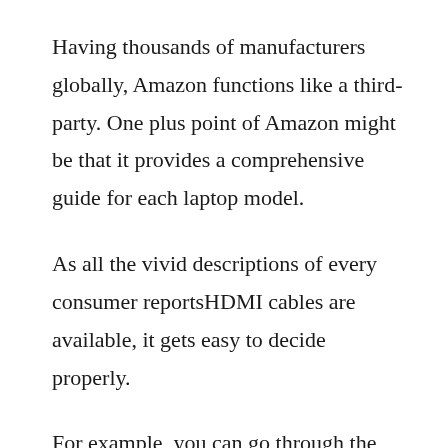Having thousands of manufacturers globally, Amazon functions like a third-party. One plus point of Amazon might be that it provides a comprehensive guide for each laptop model.
As all the vivid descriptions of every consumer reportsHDMI cables are available, it gets easy to decide properly.
For example, you can go through the guide that features information about the dictation software for windows 10 specs, including function, brand, and size.